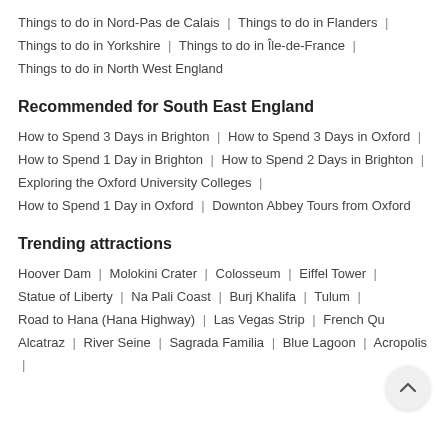Things to do in Nord-Pas de Calais | Things to do in Flanders | Things to do in Yorkshire | Things to do in Île-de-France | Things to do in North West England
Recommended for South East England
How to Spend 3 Days in Brighton | How to Spend 3 Days in Oxford | How to Spend 1 Day in Brighton | How to Spend 2 Days in Brighton | Exploring the Oxford University Colleges | How to Spend 1 Day in Oxford | Downton Abbey Tours from Oxford
Trending attractions
Hoover Dam | Molokini Crater | Colosseum | Eiffel Tower | Statue of Liberty | Na Pali Coast | Burj Khalifa | Tulum | Road to Hana (Hana Highway) | Las Vegas Strip | French Qu... | Alcatraz | River Seine | Sagrada Familia | Blue Lagoon | Acropolis |